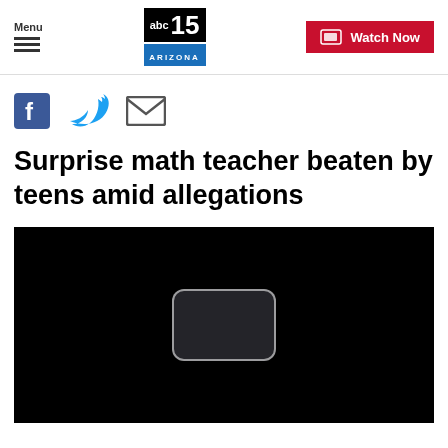Menu | abc15 ARIZONA | Watch Now
[Figure (logo): Social share icons: Facebook, Twitter, Email]
Surprise math teacher beaten by teens amid allegations
[Figure (screenshot): Black video player with a rounded rectangle placeholder in the center]